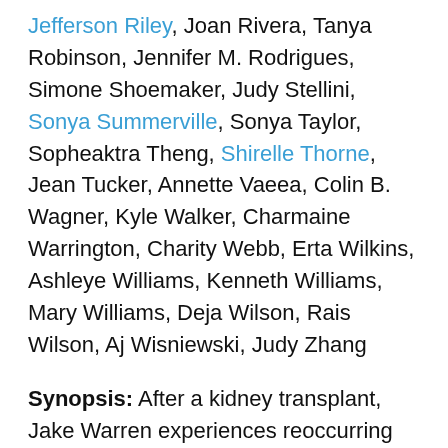Jefferson Riley, Joan Rivera, Tanya Robinson, Jennifer M. Rodrigues, Simone Shoemaker, Judy Stellini, Sonya Summerville, Sonya Taylor, Sopheaktra Theng, Shirelle Thorne, Jean Tucker, Annette Vaeea, Colin B. Wagner, Kyle Walker, Charmaine Warrington, Charity Webb, Erta Wilkins, Ashleye Williams, Kenneth Williams, Mary Williams, Deja Wilson, Rais Wilson, Aj Wisniewski, Judy Zhang
Synopsis: After a kidney transplant, Jake Warren experiences reoccurring nightmares he believes to be visions of his donor's violent murder, sending him on a dark path of vengeance, leading to an unbearable truth.
Release Date: March 10, 2018 (USA) | Length: 87 min | Genre: Drama, Mystery, Thriller | MPAA Rating: